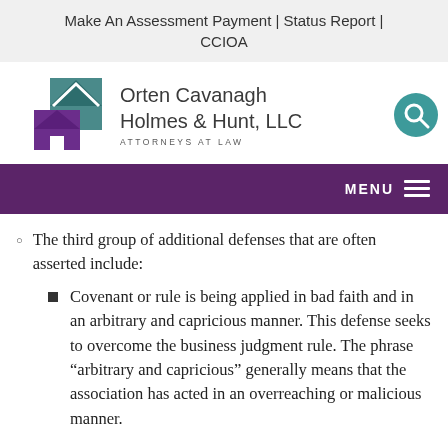Make An Assessment Payment | Status Report | CCIOA
[Figure (logo): Orten Cavanagh Holmes & Hunt, LLC Attorneys at Law logo with stylized house icons in teal and purple]
The third group of additional defenses that are often asserted include:
Covenant or rule is being applied in bad faith and in an arbitrary and capricious manner. This defense seeks to overcome the business judgment rule. The phrase “arbitrary and capricious” generally means that the association has acted in an overreaching or malicious manner.